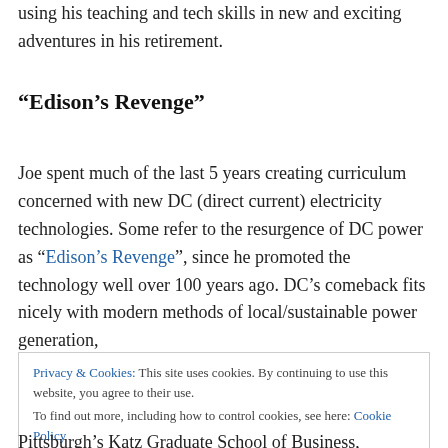using his teaching and tech skills in new and exciting adventures in his retirement.
“Edison’s Revenge”
Joe spent much of the last 5 years creating curriculum concerned with new DC (direct current) electricity technologies. Some refer to the resurgence of DC power as “Edison’s Revenge”, since he promoted the technology well over 100 years ago. DC’s comeback fits nicely with modern methods of local/sustainable power generation,
Privacy & Cookies: This site uses cookies. By continuing to use this website, you agree to their use.
To find out more, including how to control cookies, see here: Cookie Policy
Close and accept
Pittsburgh’s Katz Graduate School of Business,